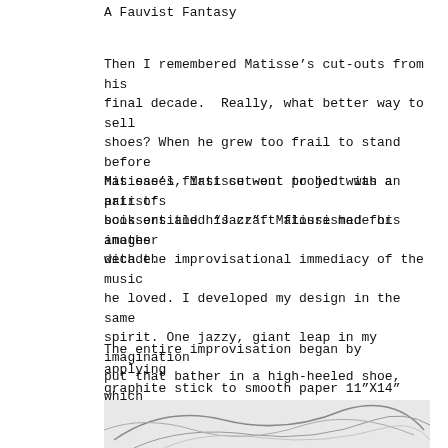A Fauvist Fantasy
Then I remembered Matisse’s cut-outs from his final decade.  Really, what better way to sell shoes? When he grew too frail to stand before his easel, Matisse went to bed with a pair of scissors and his craft flourished for another decade.
Matisse’s first cut-out project was an artist’s book entitled “Jazz”. Matisse made his images with the improvisational immediacy of the music he loved. I developed my design in the same spirit. One jazzy, giant leap in my imagination put that bather in a high-heeled shoe, which immediately gave my scissors something to riff on.
The entire improvisation began by applying graphite stick to smooth paper 11”X14”
[Figure (illustration): Partial view of a pencil/graphite drawing showing curved lines suggesting a figure or shoe outline, black and white.]